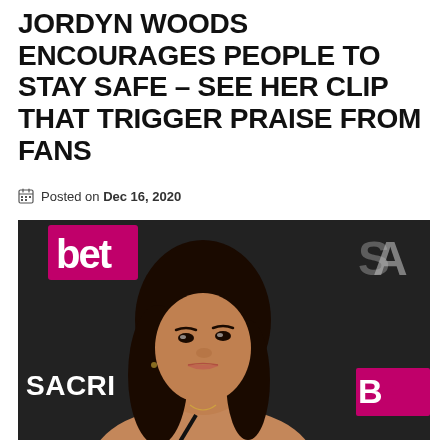JORDYN WOODS ENCOURAGES PEOPLE TO STAY SAFE – SEE HER CLIP THAT TRIGGER PRAISE FROM FANS
Posted on Dec 16, 2020
[Figure (photo): Photo of Jordyn Woods at a BET event, wearing a dark outfit, with long black hair, standing in front of a dark backdrop with pink BET logo and SACRI text visible]